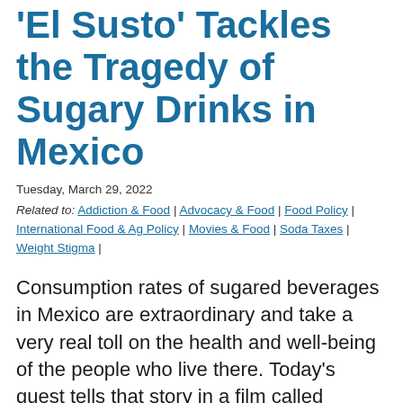'El Susto' Tackles the Tragedy of Sugary Drinks in Mexico
Tuesday, March 29, 2022
Related to: Addiction & Food | Advocacy & Food | Food Policy | International Food & Ag Policy | Movies & Food | Soda Taxes | Weight Stigma |
Consumption rates of sugared beverages in Mexico are extraordinary and take a very real toll on the health and well-being of the people who live there. Today's guest tells that story in a film called